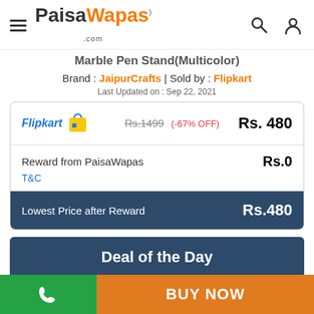PaisaWapas.com
Marble Pen Stand(Multicolor)
Brand : JaipurCrafts | Sold by : Flipkart
Last Updated on : Sep 22, 2021
| Store | Original Price | Discount | Final Price |
| --- | --- | --- | --- |
| Flipkart | Rs.1499 | (-67% OFF) | Rs. 480 |
| Reward from PaisaWapas |  |  | Rs.0 |
| Lowest Price after Reward |  |  | Rs.480 |
Deal of the Day
BUY NOW